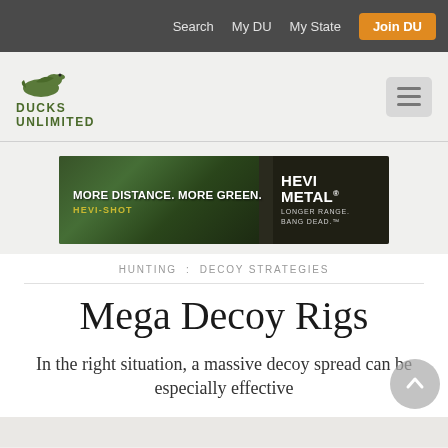Search  My DU  My State  Join DU
[Figure (logo): Ducks Unlimited logo with flying duck icon above text DUCKS UNLIMITED]
[Figure (infographic): HEVI-SHOT advertisement banner: MORE DISTANCE. MORE GREEN. HEVI-SHOT | HEVI METAL LONGER RANGE. BANG DEAD.]
HUNTING : DECOY STRATEGIES
Mega Decoy Rigs
In the right situation, a massive decoy spread can be especially effective